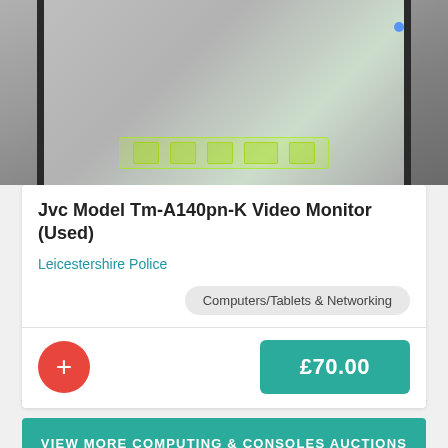[Figure (photo): Photo of a JVC video monitor showing the front face of the monitor with control buttons visible at the bottom, photographed from above at an angle]
Jvc Model Tm-A140pn-K Video Monitor (Used)
Leicestershire Police
Computers/Tablets & Networking
£70.00
VIEW MORE COMPUTING & CONSOLES AUCTIONS